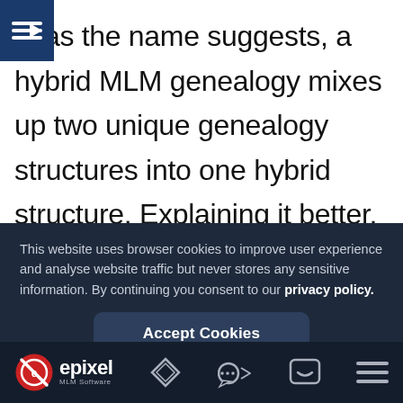[Figure (logo): Blue square icon with a right-arrow/menu symbol]
st as the name suggests, a hybrid MLM genealogy mixes up two unique genealogy structures into one hybrid structure. Explaining it better, we can add the structure of a binary plan and the
This website uses browser cookies to improve user experience and analyse website traffic but never stores any sensitive information. By continuing you consent to our privacy policy.
Accept Cookies
[Figure (logo): Epixel MLM Software logo with red circular icon and white text, plus footer navigation icons]